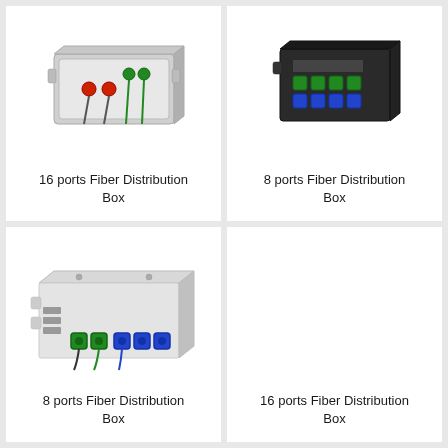[Figure (photo): 16 ports Fiber Distribution Box product photo - white/grey enclosure with red and green fiber connectors]
16 ports Fiber Distribution Box
[Figure (photo): 8 ports Fiber Distribution Box product photo - black enclosure with green and blue SC/APC fiber connectors]
8 ports Fiber Distribution Box
[Figure (photo): 8 ports Fiber Distribution Box product photo - light grey rectangular enclosure with green and blue LC fiber connectors on front]
8 ports Fiber Distribution Box
16 ports Fiber Distribution Box